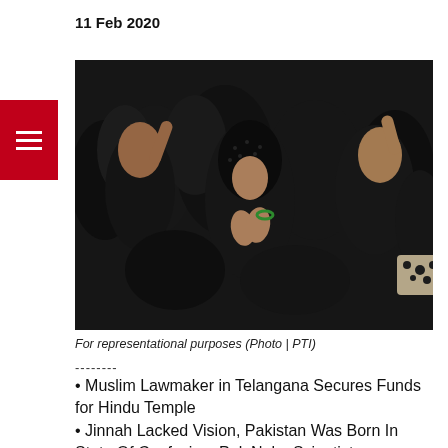11 Feb 2020
[Figure (photo): A group of women dressed in black hijabs and abayas gathered together, some with hands raised to their heads in a gesture of mourning or distress. The image is used for representational purposes.]
For representational purposes (Photo | PTI)
--------
Muslim Lawmaker in Telangana Secures Funds for Hindu Temple
Jinnah Lacked Vision, Pakistan Was Born In State Of Confusion: Pak Nuke Scientist
Islamic State"s South Asia Branch Poses